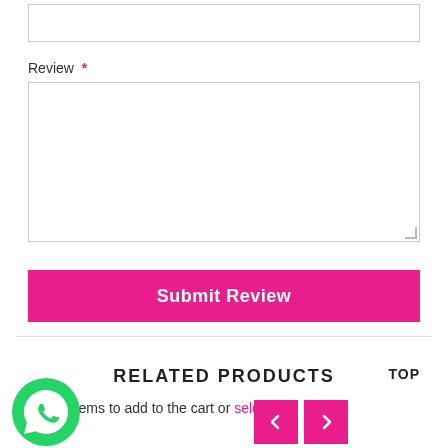[Figure (screenshot): Empty text input field with border]
Review *
[Figure (screenshot): Large empty textarea with resize handle]
[Figure (screenshot): Submit Review button in pink/magenta color]
RELATED PRODUCTS
TOP
Check items to add to the cart or select all
[Figure (logo): WhatsApp green logo icon]
[Figure (screenshot): Navigation previous and next arrow buttons in pink]